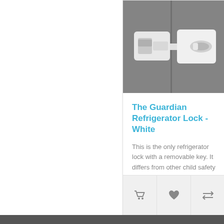[Figure (photo): Product photo of a white refrigerator lock on a gray background]
The Guardian Refrigerator Lock - White
This is the only refrigerator lock with a removable key. It differs from other child safety locks in..
$19.95
[Figure (infographic): Three action buttons: shopping cart icon, heart/wishlist icon, and compare arrows icon]